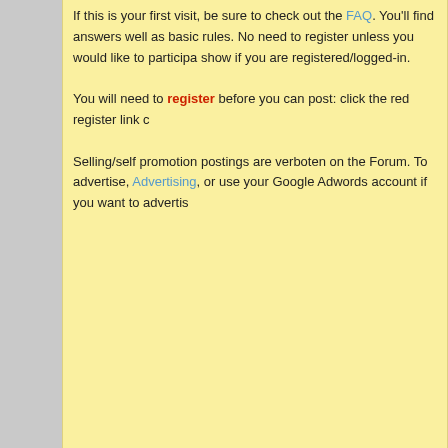If this is your first visit, be sure to check out the FAQ. You'll find answers well as basic rules. No need to register unless you would like to participa show if you are registered/logged-in.
You will need to register before you can post: click the red register link c
Selling/self promotion postings are verboten on the Forum. To advertise, Advertising, or use your Google Adwords account if you want to advertis
Hwyl
Gareth
Home Page
Find latest posts
Find latest started threads
| Join Date: | 01-13-2003 |
| Last Activity: | 08-17-2022 07:09 AM |
Hwyl's Activity
All  Hwyl  Ph
Hwyl replied to a thread ... Trump
Taking h him. I gu but wha